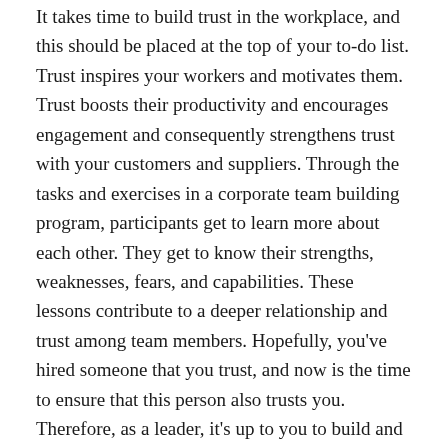It takes time to build trust in the workplace, and this should be placed at the top of your to-do list. Trust inspires your workers and motivates them. Trust boosts their productivity and encourages engagement and consequently strengthens trust with your customers and suppliers. Through the tasks and exercises in a corporate team building program, participants get to learn more about each other. They get to know their strengths, weaknesses, fears, and capabilities. These lessons contribute to a deeper relationship and trust among team members. Hopefully, you've hired someone that you trust, and now is the time to ensure that this person also trusts you. Therefore, as a leader, it's up to you to build and maintain trust in your workplace.
2. Teamwork
Corporate team building creates a focus on the importance of teamwork and collaboration and how...